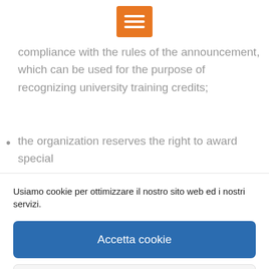[Figure (other): Orange hamburger menu button icon]
compliance with the rules of the announcement, which can be used for the purpose of recognizing university training credits;
the organization reserves the right to award special
Usiamo cookie per ottimizzare il nostro sito web ed i nostri servizi.
Accetta cookie
Nega
Visualizza preference
Cookie policy   Privacy Policy